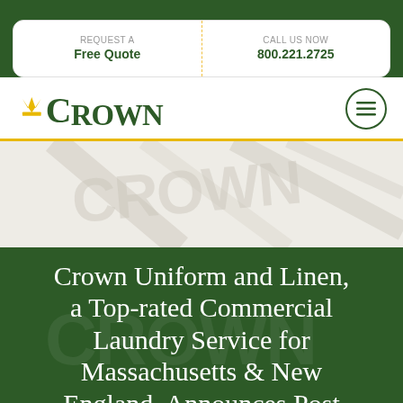[Figure (screenshot): Crown Uniform and Linen website header screenshot showing CTA bar with 'Request a Free Quote' and 'Call Us Now 800.221.2725', Crown logo with hamburger menu, hero banner with watermark, and green section with page title]
REQUEST A Free Quote
CALL US NOW 800.221.2725
[Figure (logo): Crown Uniform and Linen logo in dark green with crown icon]
Crown Uniform and Linen, a Top-rated Commercial Laundry Service for Massachusetts & New England, Announces Post